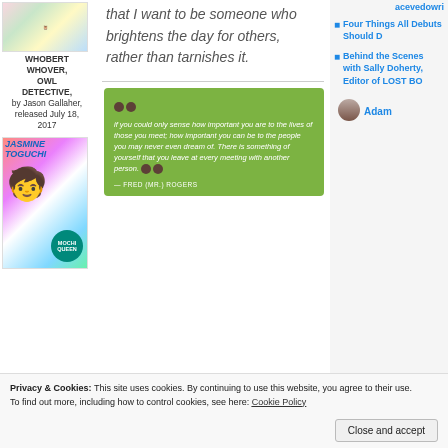[Figure (illustration): Book cover illustration with colorful artwork at top of left column]
WHOBERT WHOVER, OWL DETECTIVE, by Jason Gallaher, released July 18, 2017
that I want to be someone who brightens the day for others, rather than tarnishes it.
[Figure (illustration): Book cover for Jasmine Toguchi Mochi Queen]
[Figure (illustration): Green quote box with Fred Rogers quote: if you could only sense how important you are to the lives of those you meet; how important you can be to the people you may never even dream of. There is something of yourself that you leave at every meeting with another person. — FRED (MR.) ROGERS]
acevedowri
Four Things All Debuts Should D
Behind the Scenes with Sally Doherty, Editor of LOST BO
[Figure (photo): Small circular avatar photo of a man]
Adam
Privacy & Cookies: This site uses cookies. By continuing to use this website, you agree to their use.
To find out more, including how to control cookies, see here: Cookie Policy
Close and accept